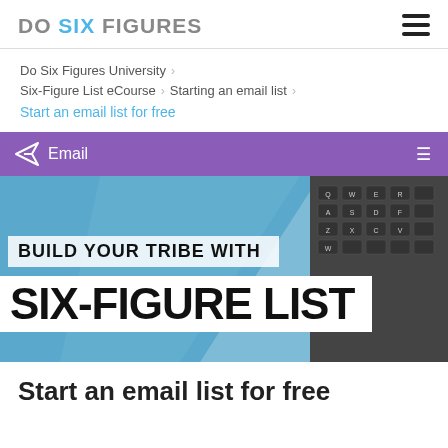DO SIX FIGURES
Do Six Figures University > Six-Figure List eCourse > Starting an email list > Start an email list for free
Email
[Figure (illustration): Promotional banner reading 'BUILD YOUR TRIBE WITH SIX-FIGURE LIST' over a blue background with a laptop keyboard]
Start an email list for free